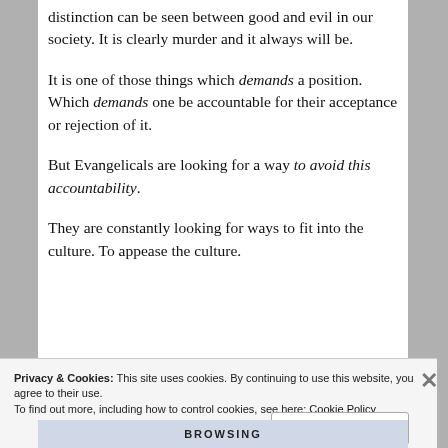Abortion is one of those examples where a clear distinction can be seen between good and evil in our society. It is clearly murder and it always will be.
It is one of those things which demands a position. Which demands one be accountable for their acceptance or rejection of it.
But Evangelicals are looking for a way to avoid this accountability.
They are constantly looking for ways to fit into the culture. To appease the culture.
Privacy & Cookies: This site uses cookies. By continuing to use this website, you agree to their use. To find out more, including how to control cookies, see here: Cookie Policy